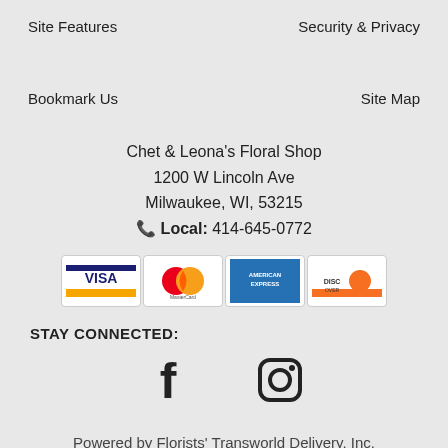Site Features
Security & Privacy
Bookmark Us
Site Map
Chet & Leona's Floral Shop
1200 W Lincoln Ave
Milwaukee, WI, 53215
Local: 414-645-0772
[Figure (other): Payment method logos: Visa, MasterCard, American Express, Discover]
STAY CONNECTED:
[Figure (other): Social media icons: Facebook and Instagram]
Powered by Florists' Transworld Delivery, Inc.